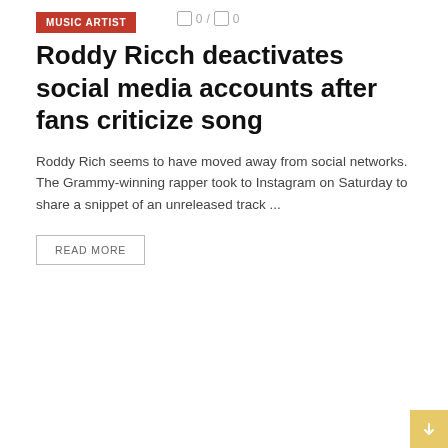MUSIC ARTIST
0 / 0
Roddy Ricch deactivates social media accounts after fans criticize song
Roddy Rich seems to have moved away from social networks. The Grammy-winning rapper took to Instagram on Saturday to share a snippet of an unreleased track ...
READ MORE